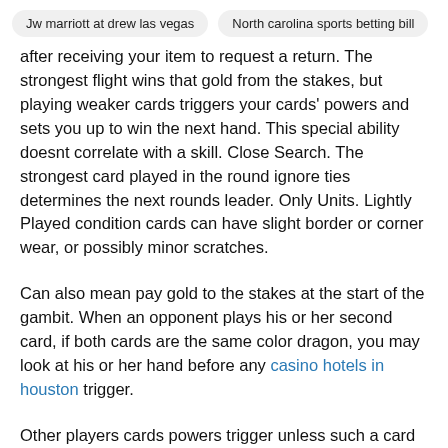Jw marriott at drew las vegas | North carolina sports betting bill
after receiving your item to request a return. The strongest flight wins that gold from the stakes, but playing weaker cards triggers your cards' powers and sets you up to win the next hand. This special ability doesnt correlate with a skill. Close Search. The strongest card played in the round ignore ties determines the next rounds leader. Only Units. Lightly Played condition cards can have slight border or corner wear, or possibly minor scratches.
Can also mean pay gold to the stakes at the start of the gambit. When an opponent plays his or her second card, if both cards are the same color dragon, you may look at his or her hand before any casino hotels in houston trigger.
Other players cards powers trigger unless such a card is stronger than the previous card played that round. This option allows the characters skills to inuence the game